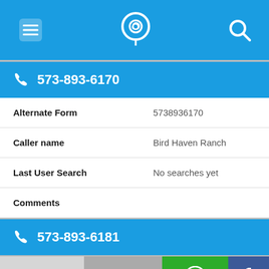Navigation header with menu, phone locator, and search icons
573-893-6170
| Field | Value |
| --- | --- |
| Alternate Form | 5738936170 |
| Caller name | Bird Haven Ranch |
| Last User Search | No searches yet |
| Comments |  |
573-893-6181
Shares  [email icon]  [WhatsApp icon]  [Facebook icon]